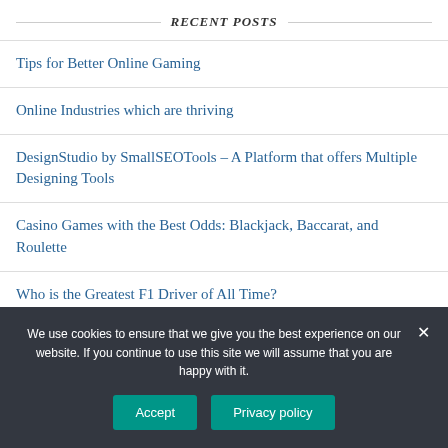RECENT POSTS
Tips for Better Online Gaming
Online Industries which are thriving
DesignStudio by SmallSEOTools – A Platform that offers Multiple Designing Tools
Casino Games with the Best Odds: Blackjack, Baccarat, and Roulette
Who is the Greatest F1 Driver of All Time?
PAGES
We use cookies to ensure that we give you the best experience on our website. If you continue to use this site we will assume that you are happy with it.
Accept   Privacy policy